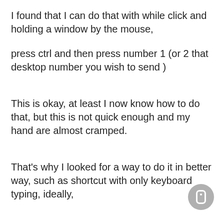I found that I can do that with while click and holding a window by the mouse,
press ctrl and then press number 1 (or 2 that desktop number you wish to send )
This is okay, at least I now know how to do that, but this is not quick enough and my hand are almost cramped.
That's why I looked for a way to do it in better way, such as shortcut with only keyboard typing, ideally,